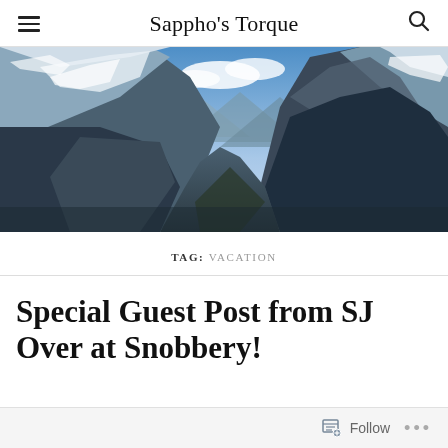Sappho's Torque
[Figure (photo): Panoramic mountain landscape with snow-capped peaks, rocky cliffs on both sides, blue sky with clouds, and a valley below. Winter alpine scene.]
TAG: VACATION
Special Guest Post from SJ Over at Snobbery!
Follow